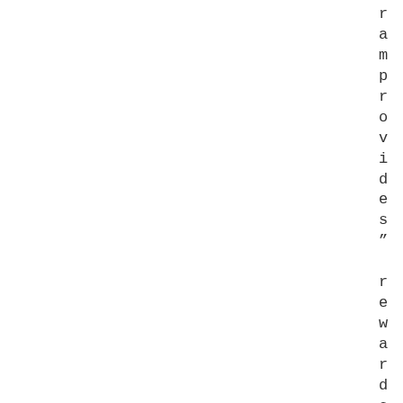ramprovides" rewards" witheachpu